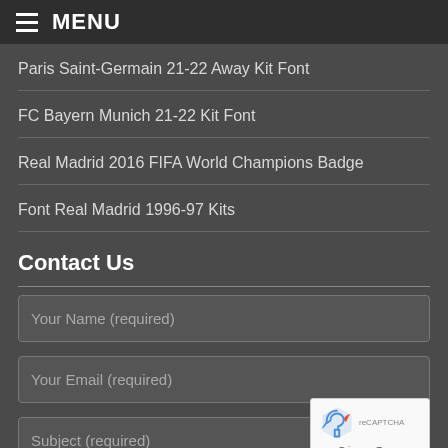MENU
Paris Saint-Germain 21-22 Away Kit Font
FC Bayern Munich 21-22 Kit Font
Real Madrid 2016 FIFA World Champions Badge
Font Real Madrid 1996-97 Kits
Contact Us
Your Name (required)
Your Email (required)
Subject (required)